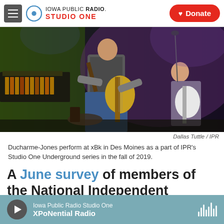Iowa Public Radio STUDIO ONE | Donate
[Figure (photo): Two guitarists performing on stage at xBk in Des Moines. The center figure plays a yellow/gold electric guitar, wearing a gray vest. Another guitarist in the background plays a white guitar. Stage lighting with green and purple tones.]
Dallas Tuttle / IPR
Ducharme-Jones perform at xBk in Des Moines as a part of IPR's Studio One Underground series in the fall of 2019.
A June survey of members of the National Independent
Iowa Public Radio Studio One | XPoNential Radio